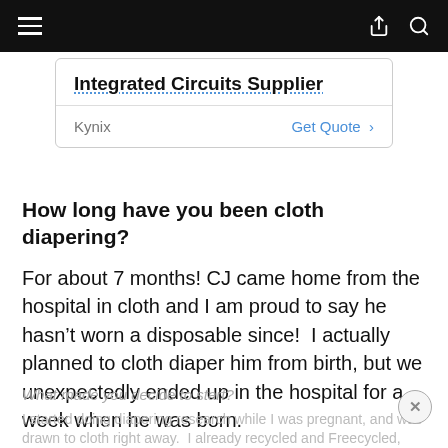Navigation bar with hamburger menu, share icon, and search icon
[Figure (other): Advertisement box for Integrated Circuits Supplier from Kynix with a Get Quote call-to-action]
How long have you been cloth diapering?
For about 7 months! CJ came home from the hospital in cloth and I am proud to say he hasn't worn a disposable since!  I actually planned to cloth diaper him from birth, but we unexpectedly ended up in the hospital for a week when he was born.
What made you decide to start?
I started doing diapering research while I was pregnant, and was drawn to cloth right away. I already recycled and Freecycled, and I love repurposing